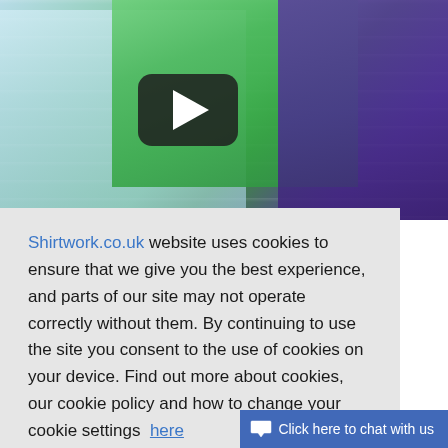[Figure (screenshot): Screenshot of a website showing stacked folded t-shirts in green, white and purple colors, with a video play button overlay in the center]
Shirtwork.co.uk website uses cookies to ensure that we give you the best experience, and parts of our site may not operate correctly without them. By continuing to use the site you consent to the use of cookies on your device. Find out more about cookies, our cookie policy and how to change your cookie settings  here
OK
Click here to chat with us